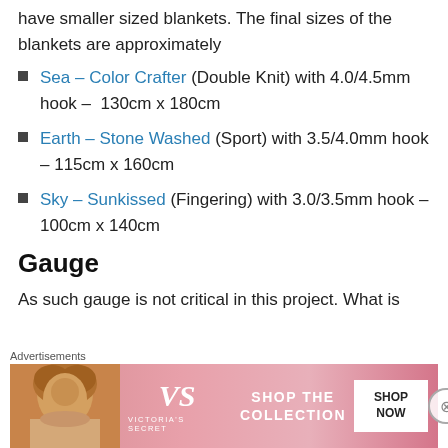have smaller sized blankets. The final sizes of the blankets are approximately
Sea – Color Crafter (Double Knit) with 4.0/4.5mm hook – 130cm x 180cm
Earth – Stone Washed (Sport) with 3.5/4.0mm hook – 115cm x 160cm
Sky – Sunkissed (Fingering) with 3.0/3.5mm hook – 100cm x 140cm
Gauge
As such gauge is not critical in this project. What is
Advertisements